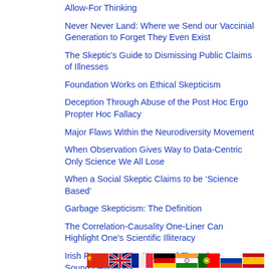Allow-For Thinking
Never Never Land: Where we Send our Vaccinial Generation to Forget They Even Exist
The Skeptic's Guide to Dismissing Public Claims of Illnesses
Foundation Works on Ethical Skepticism
Deception Through Abuse of the Post Hoc Ergo Propter Hoc Fallacy
Major Flaws Within the Neurodiversity Movement
When Observation Gives Way to Data-Centric Only Science We All Lose
When a Social Skeptic Claims to be ‘Science Based’
Garbage Skepticism: The Definition
The Correlation-Causality One-Liner Can Highlight One’s Scientific Illiteracy
Irish Pennants: The Nature of Flawed versus Sound Definitions
[Figure (illustration): Row of country flags: China, UK, France, Germany, India, Portugal, Russia, Spain]